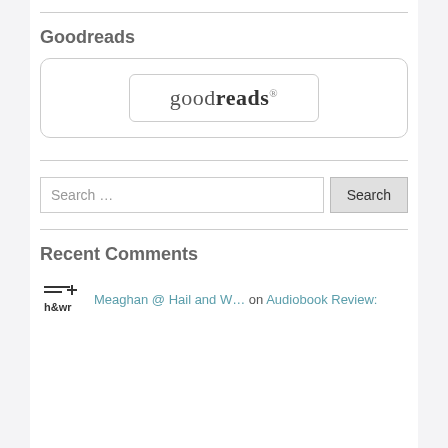Goodreads
[Figure (logo): Goodreads widget box with the Goodreads logo text inside a rounded rectangle border]
Search …
Recent Comments
Meaghan @ Hail and W… on Audiobook Review: